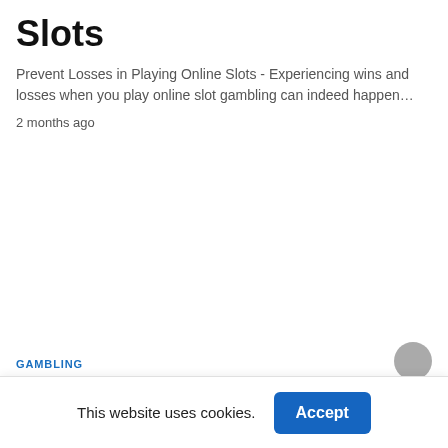Slots
Prevent Losses in Playing Online Slots - Experiencing wins and losses when you play online slot gambling can indeed happen…
2 months ago
GAMBLING
This website uses cookies.
Accept